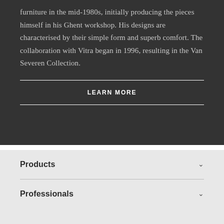furniture in the mid-1980s, initially producing the pieces himself in his Ghent workshop. His designs are characterised by their simple form and superb comfort. The collaboration with Vitra began in 1996, resulting in the Van Severen Collection.
LEARN MORE
Products
Professionals